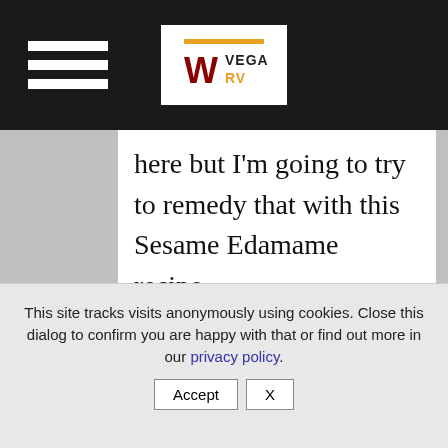Vegan RV [logo/navigation header]
here but I'm going to try to remedy that with this Sesame Edamame recipe.
Edamame in their pods are a popular appetizer at Japanese restaurants, and beyond, for good reason. They're tasty simply steamed and sprinkled with salt. But you can also flavor them up like we're going to do here.
This site tracks visits anonymously using cookies. Close this dialog to confirm you are happy with that or find out more in our privacy policy.